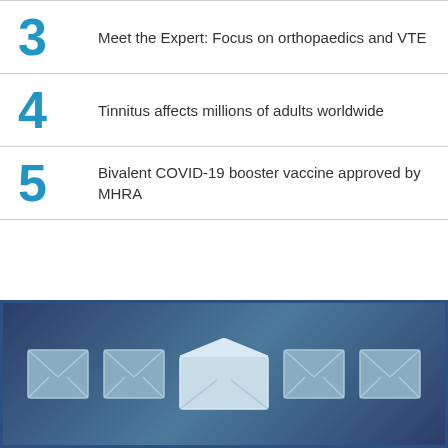3  Meet the Expert: Focus on orthopaedics and VTE
4  Tinnitus affects millions of adults worldwide
5  Bivalent COVID-19 booster vaccine approved by MHRA
[Figure (illustration): Dark blue banner with five envelope/email icons arranged in a row, ranging from closed envelopes on the sides to a large open envelope in the center, suggesting an email newsletter or subscription section.]